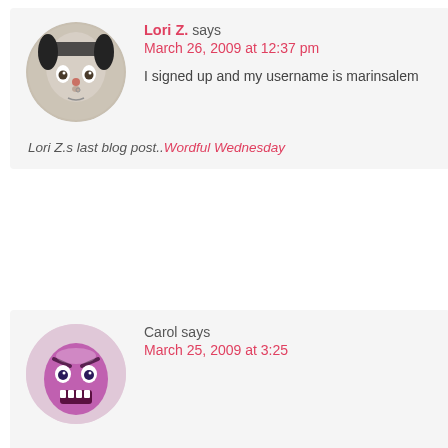[Figure (photo): Avatar photo of Lori Z. - person with facial makeup and headband, circular crop]
Lori Z. says
March 26, 2009 at 12:37 pm
I signed up and my username is marinsalem
Lori Z.s last blog post..Wordful Wednesday
[Figure (illustration): Avatar illustration of Carol - angry purple cartoon face, circular crop]
Carol says
March 25, 2009 at 3:25